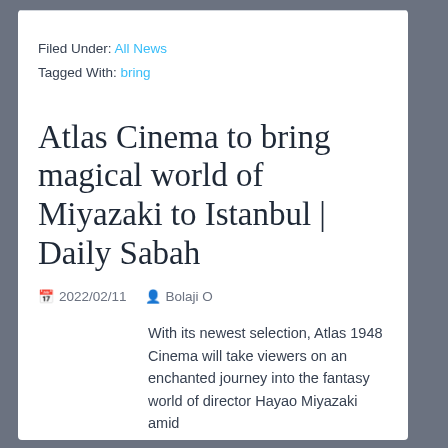Filed Under: All News
Tagged With: bring
Atlas Cinema to bring magical world of Miyazaki to Istanbul | Daily Sabah
2022/02/11   Bolaji O
With its newest selection, Atlas 1948 Cinema will take viewers on an enchanted journey into the fantasy world of director Hayao Miyazaki amid